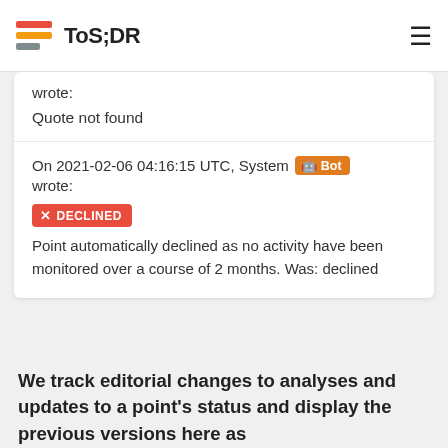ToS;DR
wrote:
Quote not found
On 2021-02-06 04:16:15 UTC, System Bot wrote:
✕ DECLINED
Point automatically declined as no activity have been monitored over a course of 2 months. Was: declined
We track editorial changes to analyses and updates to a point's status and display the previous versions here as